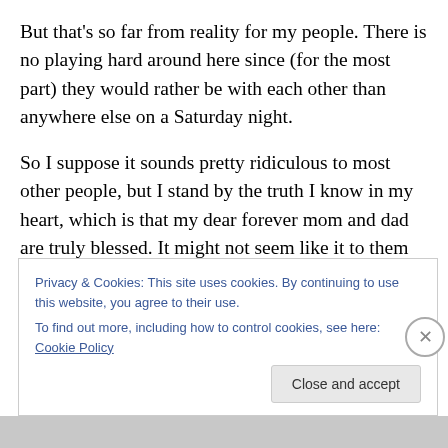But that's so far from reality for my people. There is no playing hard around here since (for the most part) they would rather be with each other than anywhere else on a Saturday night.

So I suppose it sounds pretty ridiculous to most other people, but I stand by the truth I know in my heart, which is that my dear forever mom and dad are truly blessed. It might not seem like it to them as the hard working people they are, but they are fortunate enough to spend a lot of time with dear baby Carter. Not to mention with me, as I
Privacy & Cookies: This site uses cookies. By continuing to use this website, you agree to their use.
To find out more, including how to control cookies, see here: Cookie Policy
Close and accept